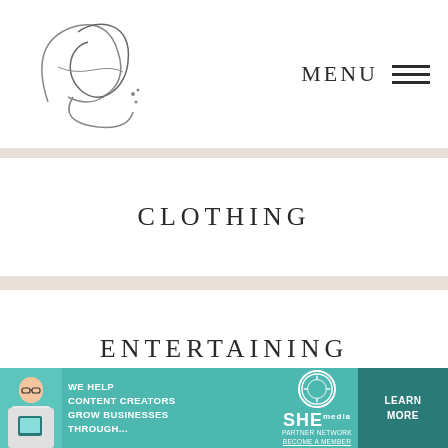CG [logo] | MENU
CLOTHING
ENTERTAINING
Stay up-to-date:
Would you like to receive an email when I write a new blog post? Sign up here and
[Figure (photo): Advertisement banner: SHE Media Partner Network - We help content creators grow businesses through...]
WE HELP CONTENT CREATORS GROW BUSINESSES THROUGH... | SHE PARTNER NETWORK BECOME A MEMBER | LEARN MORE